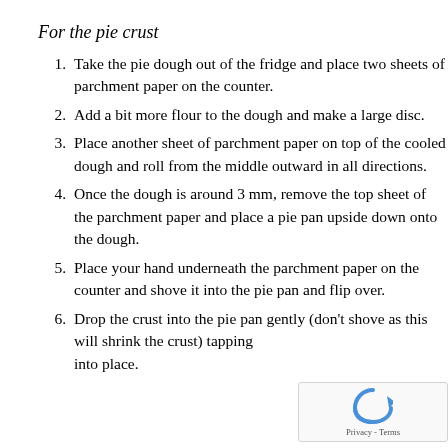For the pie crust
Take the pie dough out of the fridge and place two sheets of parchment paper on the counter.
Add a bit more flour to the dough and make a large disc.
Place another sheet of parchment paper on top of the cooled dough and roll from the middle outward in all directions.
Once the dough is around 3 mm, remove the top sheet of the parchment paper and place a pie pan upside down onto the dough.
Place your hand underneath the parchment paper on the counter and shove it into the pie pan and flip over.
Drop the crust into the pie pan gently (don't shove as this will shrink the crust) tapping into place.